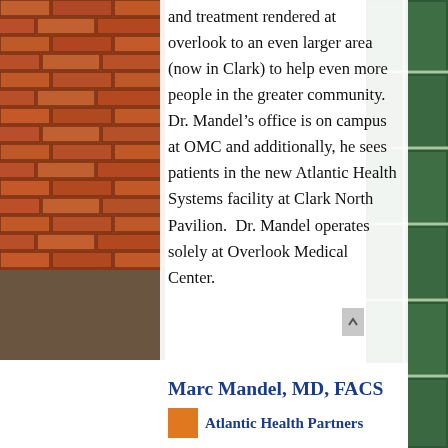[Figure (photo): Left side: brick wall exterior of a building. Bottom left transitions to a darker surface. Right side: green ceramic tile wall with white grout lines.]
and treatment rendered at overlook to an even larger area (now in Clark) to help even more people in the greater community.  Dr. Mandel's office is on campus at OMC and additionally, he sees patients in the new Atlantic Health Systems facility at Clark North Pavilion.  Dr. Mandel operates solely at Overlook Medical Center.
Marc Mandel, MD, FACS
Atlantic Health Partners